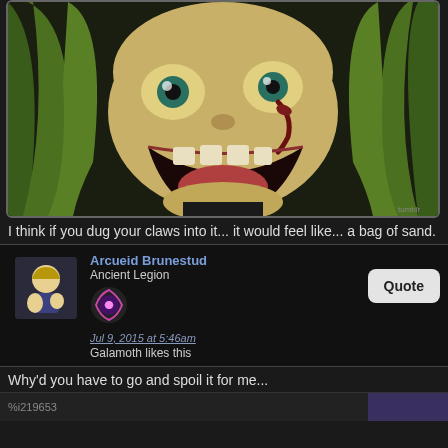[Figure (screenshot): Anime character with green hair, wide open mouth, wild eyes, blood on face — a screenshot from an animated series]
I think if you dug your claws into it... it would feel like... a bag of sand.
Arcueid Brunestud
Ancient Legion
Jul 9, 2015 at 5:46am
Galamoth likes this
Why'd you have to go and spoil it for me...